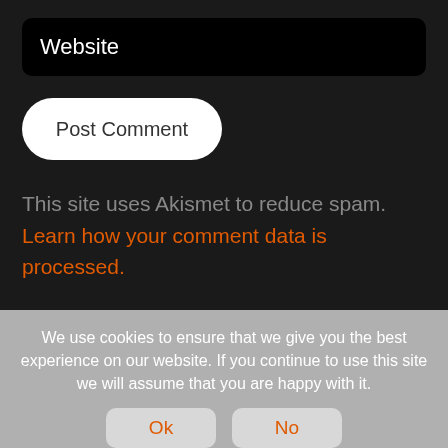[Figure (screenshot): A dark-themed website form showing a Website input field (black background, rounded corners) and a 'Post Comment' button (white, pill-shaped).]
This site uses Akismet to reduce spam. Learn how your comment data is processed.
We use cookies to ensure that we give you the best experience on our website. If you continue to use this site we will assume that you are happy with it.
Ok
No